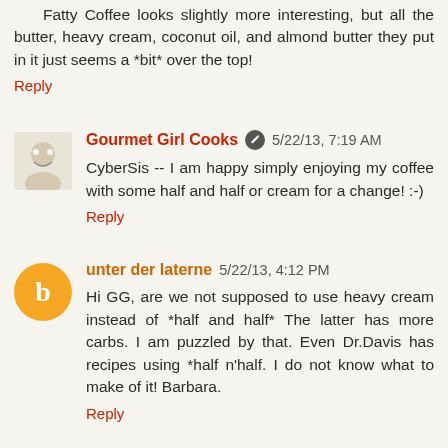Fatty Coffee looks slightly more interesting, but all the butter, heavy cream, coconut oil, and almond butter they put in it just seems a *bit* over the top!
Reply
Gourmet Girl Cooks  5/22/13, 7:19 AM
CyberSis -- I am happy simply enjoying my coffee with some half and half or cream for a change! :-)
Reply
unter der laterne  5/22/13, 4:12 PM
Hi GG, are we not supposed to use heavy cream instead of *half and half* The latter has more carbs. I am puzzled by that. Even Dr.Davis has recipes using *half n'half. I do not know what to make of it! Barbara.
Reply
Gourmet Girl Cooks  5/22/13, 9:49 PM